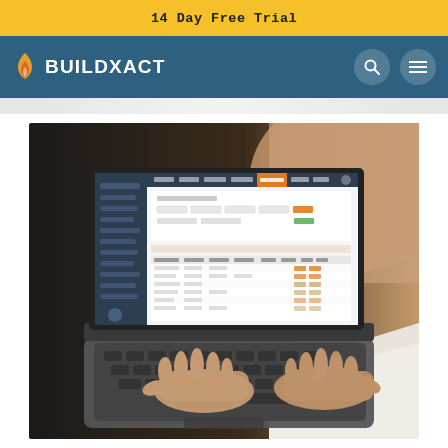14 Day Free Trial
[Figure (logo): Buildxact logo with flame icon and nav bar with search and menu icons on teal/blue background]
[Figure (photo): Person typing on a laptop with Buildxact software visible on the screen, showing a spreadsheet/estimation interface with data tables and orange color accents]